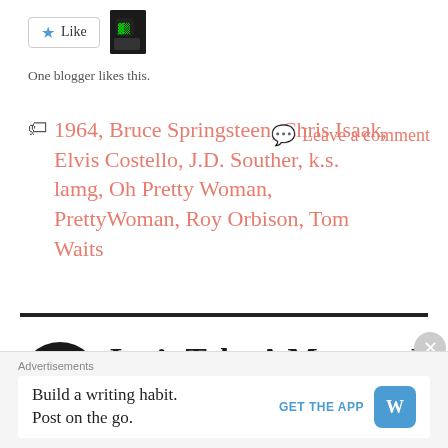[Figure (other): Like button with star icon and user avatar thumbnail]
One blogger likes this.
1964, Bruce Springsteen, Chris Isaak, Elvis Costello, J.D. Souther, k.s. lamg, Oh Pretty Woman, PrettyWoman, Roy Orbison, Tom Waits
Leave a comment
Let's Take A Moment Dav
Advertisements
Build a writing habit. Post on the go.
GET THE APP